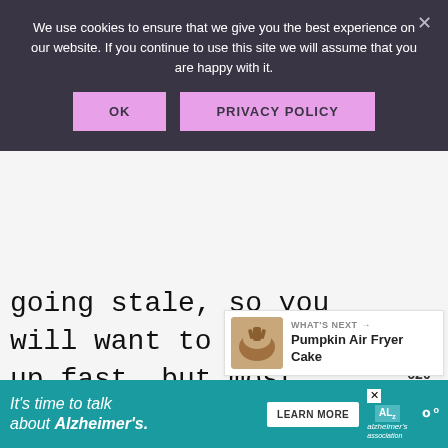We use cookies to ensure that we give you the best experience on our website. If you continue to use this site we will assume that you are happy with it.
OK  PRIVACY POLICY
going stale, so you will want to eat them up fast, but most likely you will not have any leftover!
620
WHAT'S NEXT → Pumpkin Air Fryer Cake
It's time to talk about Alzheimer's.